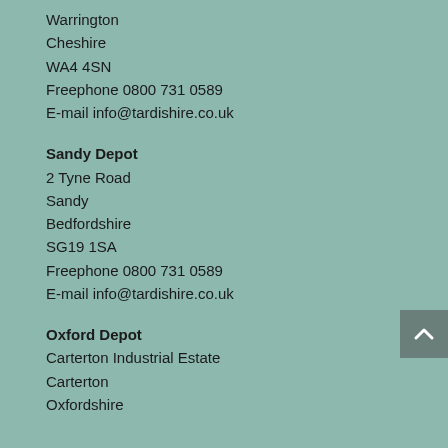Warrington
Cheshire
WA4 4SN
Freephone 0800 731 0589
E-mail info@tardishire.co.uk
Sandy Depot
2 Tyne Road
Sandy
Bedfordshire
SG19 1SA
Freephone 0800 731 0589
E-mail info@tardishire.co.uk
Oxford Depot
Carterton Industrial Estate
Carterton
Oxfordshire